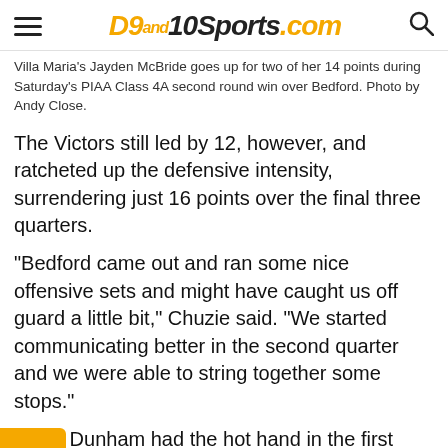D9and10Sports.com
Villa Maria's Jayden McBride goes up for two of her 14 points during Saturday's PIAA Class 4A second round win over Bedford. Photo by Andy Close.
The Victors still led by 12, however, and ratcheted up the defensive intensity, surrendering just 16 points over the final three quarters.
“Bedford came out and ran some nice offensive sets and might have caught us off guard a little bit,” Chuzie said. “We started communicating better in the second quarter and we were able to string together some stops.”
While Dunham had the hot hand in the first quarter, was Jayden McBride’s turn in the second, as she led a pair of triples and had eight points in the